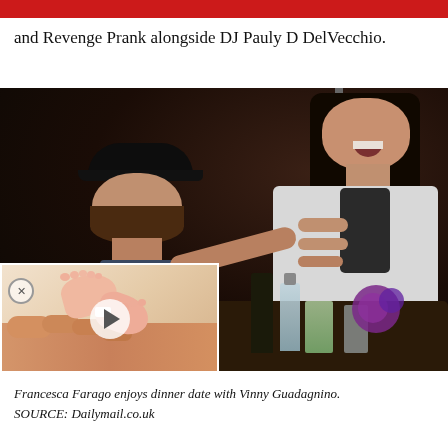and Revenge Prank alongside DJ Pauly D DelVecchio.
[Figure (photo): Francesca Farago enjoys dinner date with Vinny Guadagnino at a restaurant. A man wearing a black cap and blue jacket leans toward a laughing woman in a white top at a dark wooden table with drinks and purple flowers. An inset photo shows a baby's feet being held by an adult hand with a hospital identification band visible. A play button overlay appears on the inset photo.]
Francesca Farago enjoys dinner date with Vinny Guadagnino.
SOURCE: Dailymail.co.uk